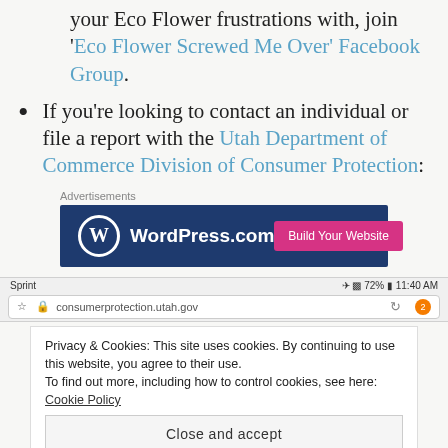your Eco Flower frustrations with, join 'Eco Flower Screwed Me Over' Facebook Group.
If you're looking to contact an individual or file a report with the Utah Department of Commerce Division of Consumer Protection:
[Figure (screenshot): WordPress.com advertisement banner with blue background, WordPress logo and 'Build Your Website' pink button]
[Figure (screenshot): Mobile browser screenshot showing Sprint carrier, 72% battery, 11:40 AM, consumerprotection.utah.gov URL bar with privacy cookie banner and 'Close and accept' button, and partial table with E-Mail and Street Address rows]
Privacy & Cookies: This site uses cookies. By continuing to use this website, you agree to their use. To find out more, including how to control cookies, see here: Cookie Policy
Close and accept
|  |  | Street Address | 160 East 300 South |
| --- | --- | --- | --- |
| Toll-Free (instate only) | 800-721-7233 |  |  |
| E-Mail | consumerprotection@utah.gov | Street Address | 160 East 300 South |